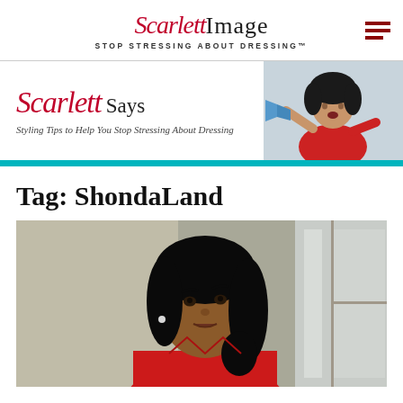Scarlett Image — STOP STRESSING ABOUT DRESSING™
[Figure (illustration): Scarlett Says banner with script 'Scarlett' in red and 'Says' in serif, subtitle 'Styling Tips to Help You Stop Stressing About Dressing', with a woman in red top shouting through megaphone on the right]
Tag: ShondaLand
[Figure (photo): A woman in a red blazer with dark wavy hair, looking slightly upward, against a neutral interior background]